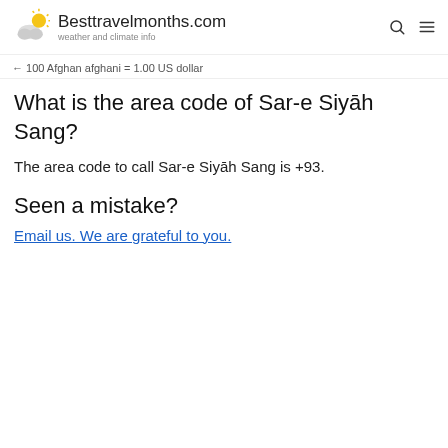Besttravelmonths.com — weather and climate info
100 Afghan afghani = 1.00 US dollar
What is the area code of Sar-e Siyāh Sang?
The area code to call Sar-e Siyāh Sang is +93.
Seen a mistake?
Email us. We are grateful to you.